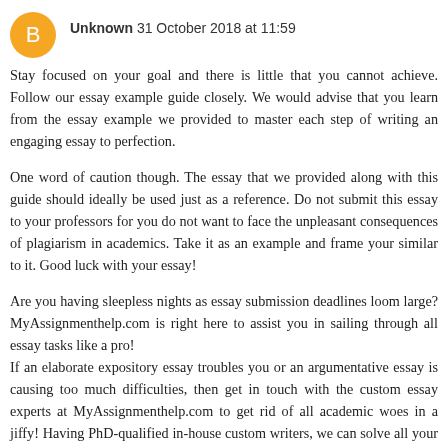Unknown 31 October 2018 at 11:59
Stay focused on your goal and there is little that you cannot achieve. Follow our essay example guide closely. We would advise that you learn from the essay example we provided to master each step of writing an engaging essay to perfection.
One word of caution though. The essay that we provided along with this guide should ideally be used just as a reference. Do not submit this essay to your professors for you do not want to face the unpleasant consequences of plagiarism in academics. Take it as an example and frame your similar to it. Good luck with your essay!
Are you having sleepless nights as essay submission deadlines loom large? MyAssignmenthelp.com is right here to assist you in sailing through all essay tasks like a pro! If an elaborate expository essay troubles you or an argumentative essay is causing too much difficulties, then get in touch with the custom essay experts at MyAssignmenthelp.com to get rid of all academic woes in a jiffy! Having PhD-qualified in-house custom writers, we can solve all your essay problems promptly! Our